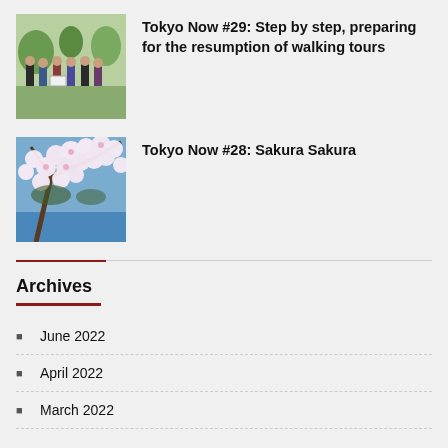[Figure (photo): Group of people standing outdoors near trees]
Tokyo Now #29: Step by step, preparing for the resumption of walking tours
[Figure (photo): Cherry blossom flowers close-up]
Tokyo Now #28: Sakura Sakura
Archives
June 2022
April 2022
March 2022